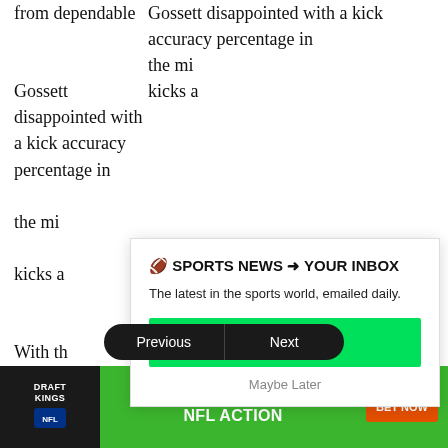from dependable
Gossett disappointed with a kick accuracy percentage in the mi[d...] from 1978-79 in which he missed 48 kicks a[nd...]
🏈 SPORTS NEWS ➜ YOUR INBOX
With th[e...] league[...] kicks.
The latest in the sports world, emailed daily.
Howe[ver...] diastr[ously...] percen[...]
Join Newsletter
Maybe Later
Gosse[tt...] as a 49[...]
Previous
Next
[Figure (other): DraftKings NFL advertisement banner: GET IN ON THE NFL ACTION with BET NOW button]